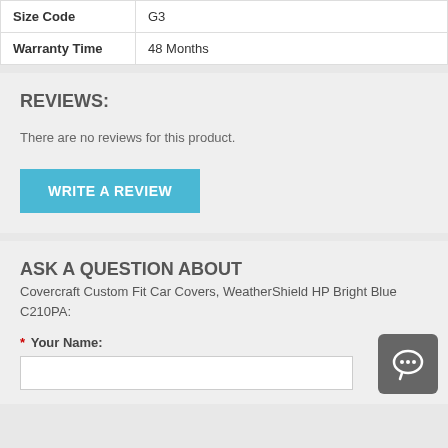| Size Code | G3 |
| Warranty Time | 48 Months |
REVIEWS:
There are no reviews for this product.
WRITE A REVIEW
ASK A QUESTION ABOUT
Covercraft Custom Fit Car Covers, WeatherShield HP Bright Blue C210PA:
* Your Name: